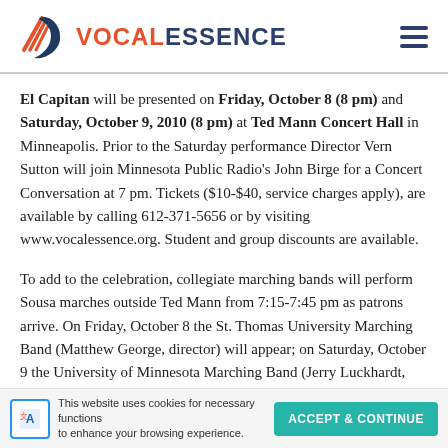VOCALESSENCE
El Capitan will be presented on Friday, October 8 (8 pm) and Saturday, October 9, 2010 (8 pm) at Ted Mann Concert Hall in Minneapolis. Prior to the Saturday performance Director Vern Sutton will join Minnesota Public Radio's John Birge for a Concert Conversation at 7 pm. Tickets ($10-$40, service charges apply), are available by calling 612-371-5656 or by visiting www.vocalessence.org. Student and group discounts are available.
To add to the celebration, collegiate marching bands will perform Sousa marches outside Ted Mann from 7:15-7:45 pm as patrons arrive. On Friday, October 8 the St. Thomas University Marching Band (Matthew George, director) will appear; on Saturday, October 9 the University of Minnesota Marching Band (Jerry Luckhardt, director) will perform.
This website uses cookies for necessary functions to enhance your browsing experience.